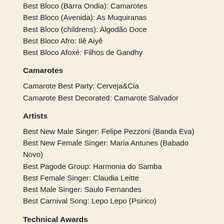Best Bloco (Barra Ondia): Camarotes
Best Bloco (Avenida): As Muquiranas
Best Bloco (childrens): Algodão Doce
Best Bloco Afro: Ilê Aiyê
Best Bloco Afoxé: Filhos de Gandhy
Camarotes
Camarote Best Party: Cerveja&Cia
Camarote Best Decorated: Camarote Salvador
Artists
Best New Male Singer: Felipe Pezzoni (Banda Eva)
Best New Female Singer: Maria Antunes (Babado Novo)
Best Pagode Group: Harmonia do Samba
Best Female Singer: Claudia Leitte
Best Male Singer: Saulo Fernandes
Best Carnival Song: Lepo Lepo (Psirico)
Technical Awards
Best Fashion Design (Female Artist): Claudia Leitte
Best Fashion Design (Male Artist): Carlinhos Brown
Best Costumes (Bloco Afro): Cortejo Afro